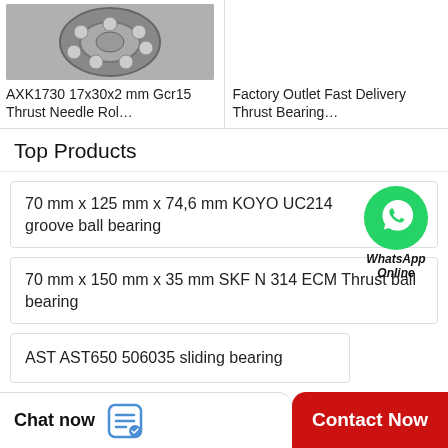[Figure (photo): Close-up photo of a metal ball/roller bearing showing inner and outer ring with rolling elements, grey metallic color]
AXK1730 17x30x2 mm Gcr15 Thrust Needle Rol…
Factory Outlet Fast Delivery Thrust Bearing…
Top Products
70 mm x 125 mm x 74,6 mm KOYO UC214 groove ball bearing
[Figure (logo): WhatsApp green circle logo with phone handset icon, labeled WhatsApp Online in italic bold text]
70 mm x 150 mm x 35 mm SKF N 314 ECM Thrust ball bearing
AST AST650 506035 sliding bearing
Chat now
Contact Now